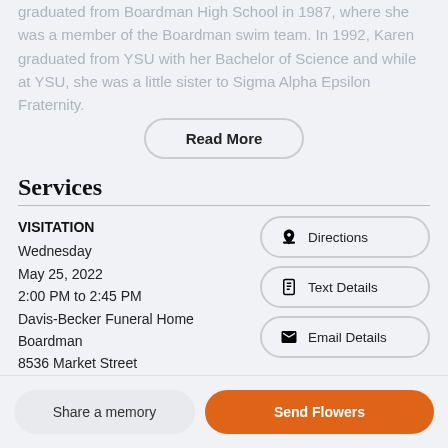graduated from Boardman High School in 1987, where she was a member of the Boardman swim team. In 1992, Karen graduated from YSU with her Bachelor of Science and while at YSU, she was a little sister to Sigma Alpha Epsilon Fraternity.
Read More
Services
VISITATION
Wednesday
May 25, 2022
2:00 PM to 2:45 PM
Davis-Becker Funeral Home
Boardman
8536 Market Street
Directions
Text Details
Email Details
Share a memory
Send Flowers